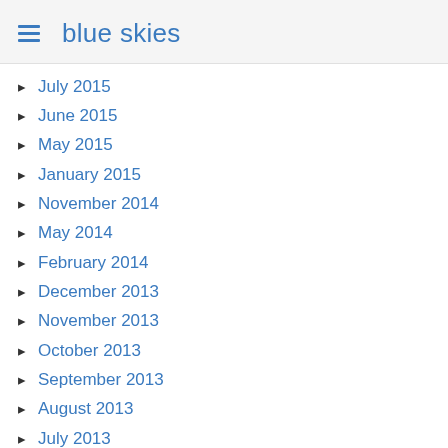blue skies
July 2015
June 2015
May 2015
January 2015
November 2014
May 2014
February 2014
December 2013
November 2013
October 2013
September 2013
August 2013
July 2013
February 2013
November 2012
October 2012
August 2012
July 2012
June 2012